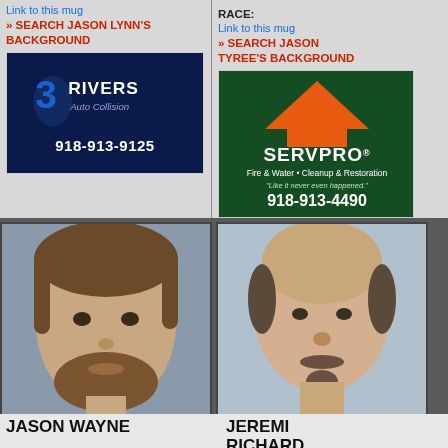Link to this mug
» SEARCH JASON LYNN'S BACKGROUND
[Figure (logo): 3 Rivers Auto Collision advertisement with dark blue background, logo and phone number 918-913-9125]
RACE:
Link to this mug
» SEARCH JASON TYREE'S BACKGROUND
[Figure (logo): SERVPRO Fire & Water Cleanup & Restoration advertisement with orange roof logo and phone number 918-913-4490]
[Figure (photo): Mugshot of Jason Wayne - white male with brown hair and beard]
[Figure (photo): Mugshot of Jeremi Richard - white male, bald with mustache and goatee]
JASON WAYNE
JEREMI RICHARD